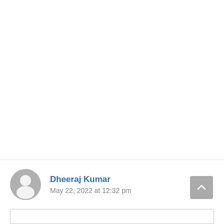[Figure (illustration): User avatar: circular grey placeholder icon with a generic person silhouette]
Dheeraj Kumar
May 22, 2022 at 12:32 pm